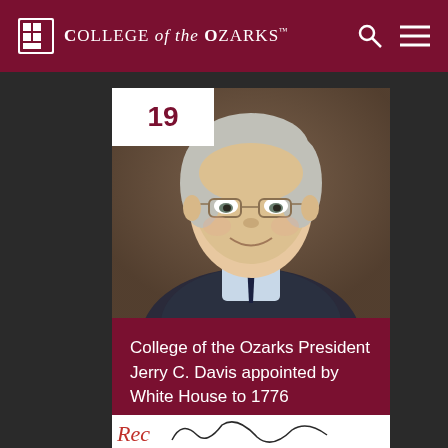College of the Ozarks
[Figure (photo): Portrait photo of College of the Ozarks President Jerry C. Davis, older man with glasses, smiling, wearing a dark suit and tie, against a dark brown background. Number badge '19' overlaid in top-left.]
College of the Ozarks President Jerry C. Davis appointed by White House to 1776 Commission
[Figure (photo): Partial view of a signature or cursive text at the bottom of the page, partially cropped.]